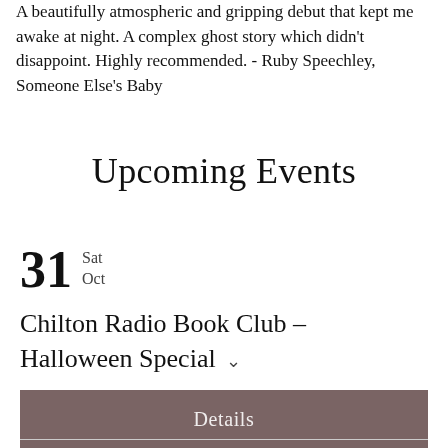A beautifully atmospheric and gripping debut that kept me awake at night. A complex ghost story which didn't disappoint. Highly recommended. - Ruby Speechley, Someone Else's Baby
Upcoming Events
31 Sat Oct
Chilton Radio Book Club – Halloween Special
Details